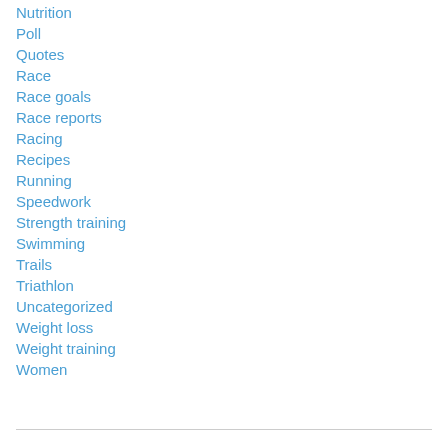Nutrition
Poll
Quotes
Race
Race goals
Race reports
Racing
Recipes
Running
Speedwork
Strength training
Swimming
Trails
Triathlon
Uncategorized
Weight loss
Weight training
Women